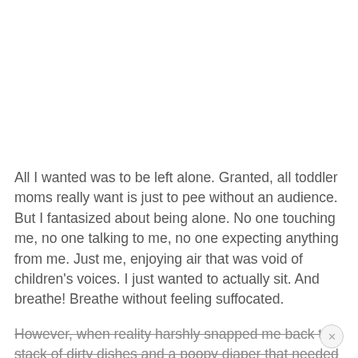All I wanted was to be left alone. Granted, all toddler moms really want is just to pee without an audience. But I fantasized about being alone. No one touching me, no one talking to me, no one expecting anything from me. Just me, enjoying air that was void of children's voices. I just wanted to actually sit. And breathe! Breathe without feeling suffocated.
However, when reality harshly snapped me back to a stack of dirty dishes and a poopy diaper that needed to be changed, I just wanted to scream.